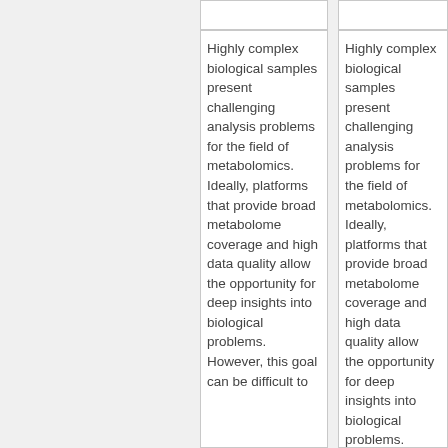Highly complex biological samples present challenging analysis problems for the field of metabolomics. Ideally, platforms that provide broad metabolome coverage and high data quality allow the opportunity for deep insights into biological problems. However, this goal can be difficult to
Highly complex biological samples present challenging analysis problems for the field of metabolomics. Ideally, platforms that provide broad metabolome coverage and high data quality allow the opportunity for deep insights into biological problems. However, this goal can be difficult to